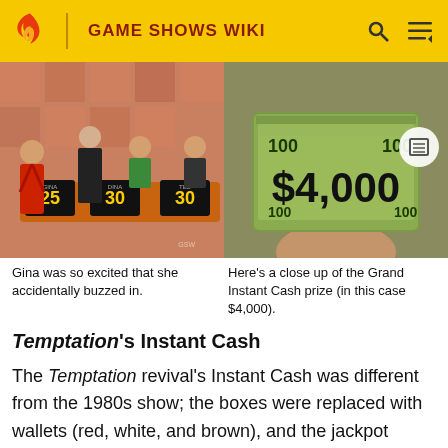GAME SHOWS WIKI
[Figure (photo): Game show scene with contestants and scoreboard showing 25, 30, 30; host shaking hands with a contestant in a red dress on stage with orange tile backdrop]
[Figure (photo): Close up of a hand holding a stack of $100 bills with '$4,000' printed on the front in large black text]
Gina was so excited that she accidentally buzzed in.
Here's a close up of the Grand Instant Cash prize (in this case $4,000).
Temptation's Instant Cash
The Temptation revival's Instant Cash was different from the 1980s show; the boxes were replaced with wallets (red, white, and brown), and the jackpot started at $500 and grew by that amount until won with a maximum of